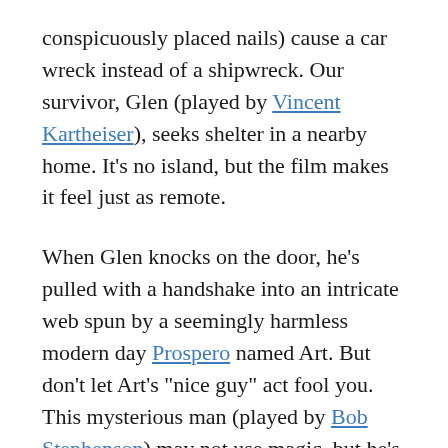conspicuously placed nails) cause a car wreck instead of a shipwreck. Our survivor, Glen (played by Vincent Kartheiser), seeks shelter in a nearby home. It's no island, but the film makes it feel just as remote.
When Glen knocks on the door, he's pulled with a handshake into an intricate web spun by a seemingly harmless modern day Prospero named Art. But don't let Art's "nice guy" act fool you. This mysterious man (played by Bob Stephenson) may not use magic, but he's a powerful sorcerer and he works wonders with "his so potent art."
While he doesn't have a daughter named